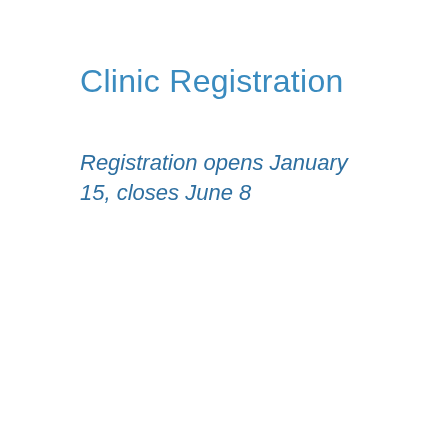Clinic Registration
Registration opens January 15, closes June 8